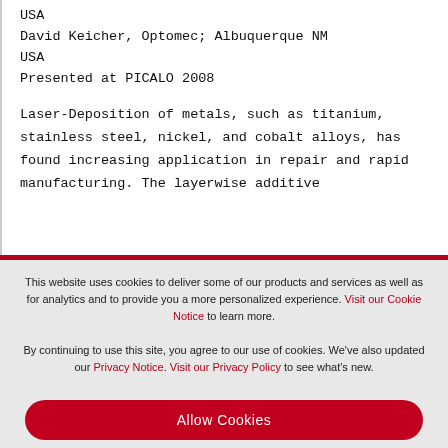USA
David Keicher, Optomec; Albuquerque NM USA
Presented at PICALO 2008
Laser-Deposition of metals, such as titanium, stainless steel, nickel, and cobalt alloys, has found increasing application in repair and rapid manufacturing. The layerwise additive
This website uses cookies to deliver some of our products and services as well as for analytics and to provide you a more personalized experience. Visit our Cookie Notice to learn more.

By continuing to use this site, you agree to our use of cookies. We've also updated our Privacy Notice. Visit our Privacy Policy to see what's new.
Allow Cookies